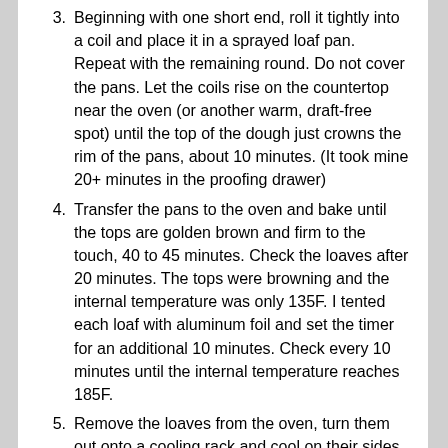3. Beginning with one short end, roll it tightly into a coil and place it in a sprayed loaf pan. Repeat with the remaining round. Do not cover the pans. Let the coils rise on the countertop near the oven (or another warm, draft-free spot) until the top of the dough just crowns the rim of the pans, about 10 minutes. (It took mine 20+ minutes in the proofing drawer)
4. Transfer the pans to the oven and bake until the tops are golden brown and firm to the touch, 40 to 45 minutes. Check the loaves after 20 minutes. The tops were browning and the internal temperature was only 135F. I tented each loaf with aluminum foil and set the timer for an additional 10 minutes. Check every 10 minutes until the internal temperature reaches 185F.
5. Remove the loaves from the oven, turn them out onto a cooling rack and cool on their sides for 20 minutes before slicing.
NOTES: